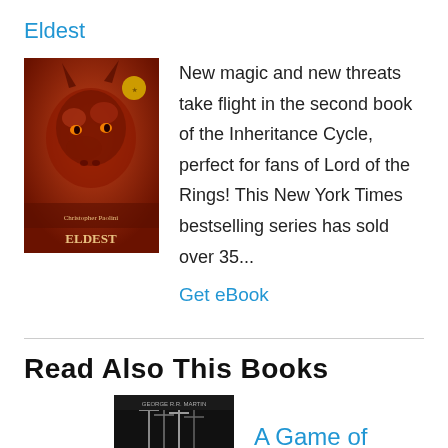Eldest
[Figure (photo): Book cover of Eldest showing a red dragon head]
New magic and new threats take flight in the second book of the Inheritance Cycle, perfect for fans of Lord of the Rings! This New York Times bestselling series has sold over 35...
Get eBook
Read Also This Books
[Figure (photo): Book cover of A Game of Thrones showing dark imagery with weapons]
A Game of Thrones